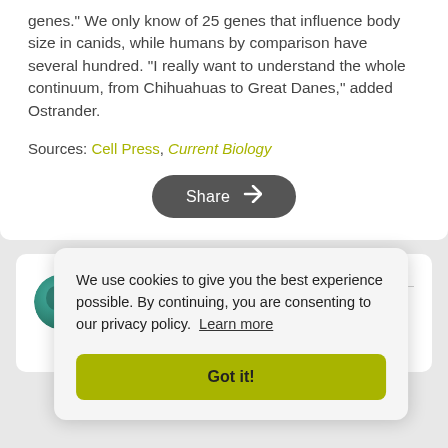genes." We only know of 25 genes that influence body size in canids, while humans by comparison have several hundred. "I really want to understand the whole continuum, from Chihuahuas to Great Danes," added Ostrander.
Sources: Cell Press, Current Biology
[Figure (other): Share button with arrow icon]
[Figure (other): Author avatar - circular teal/green gradient image]
BS
Experienced research scientist and technical expert with
We use cookies to give you the best experience possible. By continuing, you are consenting to our privacy policy. Learn more
Got it!